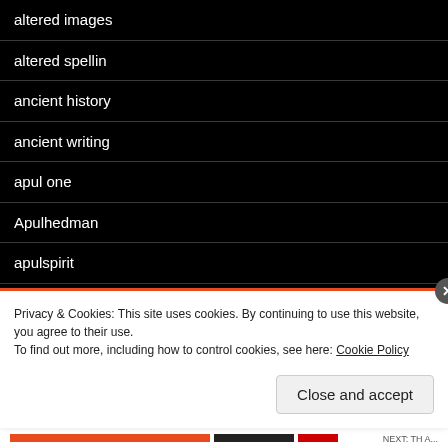altered images
altered spellin
ancient history
ancient writing
apul one
Apulhedman
apulspirit
arnolfini at bristol
art world
Privacy & Cookies: This site uses cookies. By continuing to use this website, you agree to their use.
To find out more, including how to control cookies, see here: Cookie Policy
Close and accept